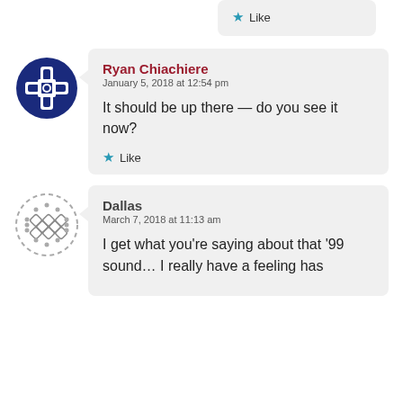[Figure (other): Partial comment bubble showing a Like button with a star icon]
[Figure (illustration): Blue decorative avatar icon with cross/snowflake pattern]
Ryan Chiachiere
January 5, 2018 at 12:54 pm

It should be up there — do you see it now?

★ Like
[Figure (illustration): Gray dashed decorative avatar icon with diamond pattern]
Dallas
March 7, 2018 at 11:13 am

I get what you're saying about that '99 sound… I really have a feeling has